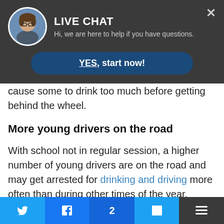[Figure (screenshot): Live chat widget overlay with avatar photo of a woman with glasses, title LIVE CHAT, subtitle text, and a YES start now button]
cause some to drink too much before getting behind the wheel.
More young drivers on the road
With school not in regular session, a higher number of young drivers are on the road and may get arrested for drinking and driving more often than during other times of the year. Parties and social activities also abound in th...
[Figure (screenshot): Social sharing bar with Twitter, Facebook (with count 2), LinkedIn, and more buttons]